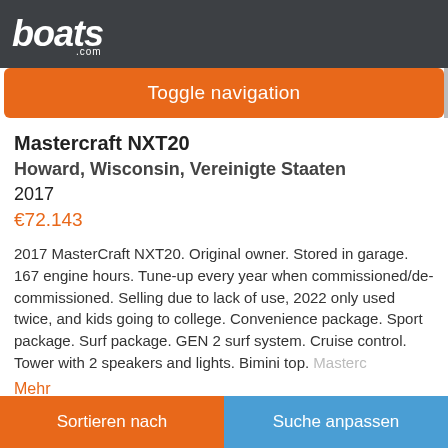boats.com
Toggle navigation
Mastercraft NXT20
Howard, Wisconsin, Vereinigte Staaten
2017
€72.143
2017 MasterCraft NXT20. Original owner. Stored in garage. 167 engine hours. Tune-up every year when commissioned/de-commissioned. Selling due to lack of use, 2022 only used twice, and kids going to college. Convenience package. Sport package. Surf package. GEN 2 surf system. Cruise control. Tower with 2 speakers and lights. Bimini top. Masterc…
Mehr
Privater Verkäufer
Sortieren nach | Suche anpassen